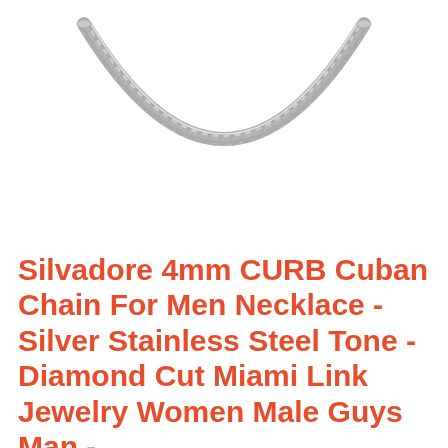[Figure (photo): A silver stainless steel curb Cuban chain necklace photographed against a white background, showing the bottom arc of the chain with interlocking diamond-cut links.]
Silvadore 4mm CURB Cuban Chain For Men Necklace - Silver Stainless Steel Tone - Diamond Cut Miami Link Jewelry Women Male Guys Man -